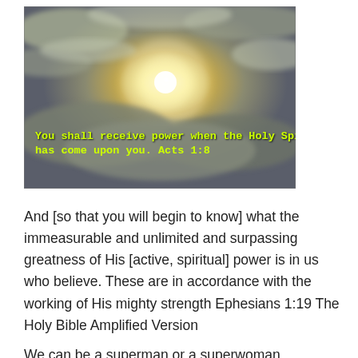[Figure (photo): Sky with sun breaking through clouds, yellow text overlay reading 'You shall receive power when the Holy Spirit has come upon you. Acts 1:8']
And [so that you will begin to know] what the immeasurable and unlimited and surpassing greatness of His [active, spiritual] power is in us who believe. These are in accordance with the working of His mighty strength Ephesians 1:19 The Holy Bible Amplified Version
We can be a superman or a superwoman.